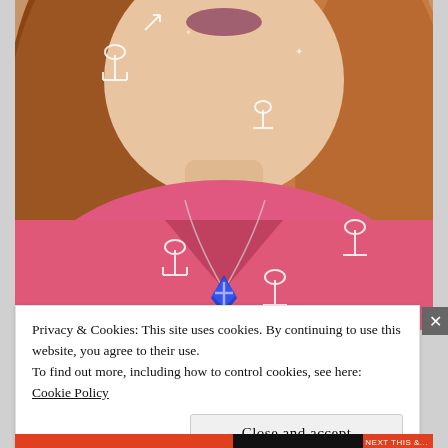[Figure (photo): Close-up photo of a person with long auburn/red hair wearing a pink top with white anchor prints and a blue geometric pendant necklace on a silver chain. Only the lower face (lips visible), neck, and torso are shown.]
Privacy & Cookies: This site uses cookies. By continuing to use this website, you agree to their use.
To find out more, including how to control cookies, see here:
Cookie Policy
Close and accept